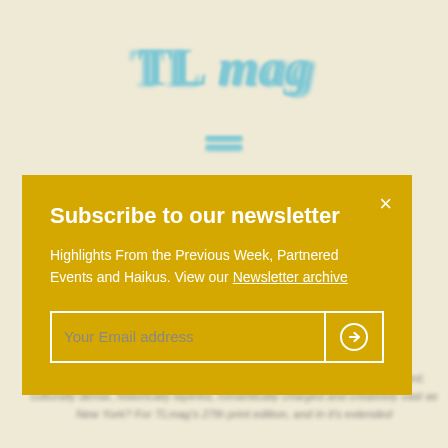TL mag
[Figure (other): Hamburger menu icon with two horizontal lines in teal/cyan color]
New York
How can one capture the essence of a place as geographically convoluted, culturally dense, historically layered, romantically charged and creatively vast as New York? For TLmag's 27th print edition, and in it's extended
Subscribe to our newsletter
Highlights From the Previous Week, Partnered Events and Haikus. View our Newsletter archive
Your Email address